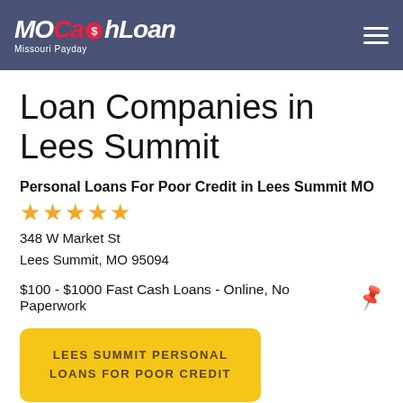MOCashLoan - Missouri Payday
Loan Companies in Lees Summit
Personal Loans For Poor Credit in Lees Summit MO
★★★★★
348 W Market St
Lees Summit, MO 95094
$100 - $1000 Fast Cash Loans - Online, No Paperwork
LEES SUMMIT PERSONAL LOANS FOR POOR CREDIT